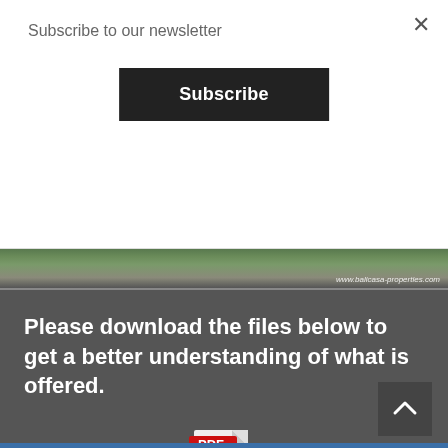Subscribe to our newsletter
Subscribe
[Figure (photo): Aerial or coastal landscape photo with green vegetation and rocky shore; watermark reads www.balicasa-properties.com]
Please download the files below to get a better understanding of what is offered.
[Figure (illustration): PDF file icon with red PDF label banner and Adobe Acrobat logo]
North Bali Beach Club presentation
Please download this file to get a complete presentation of this beachclub offered.
Beachclub presentation.pdf
Adobe Acrobat Document [846.7 KB]